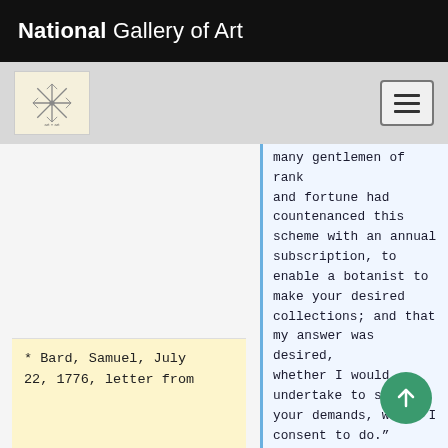National Gallery of Art
many gentlemen of rank and fortune had countenanced this scheme with an annual subscription, to enable a botanist to make your desired collections; and that my answer was desired, whether I would undertake to supply your demands, which I consent to do."
* Bard, Samuel, July 22, 1776, letter from